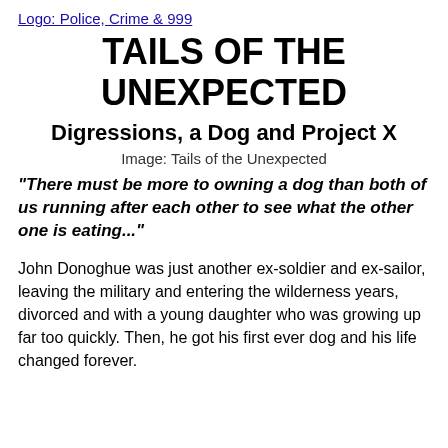[Figure (logo): Logo: Police, Crime & 999]
TAILS OF THE UNEXPECTED
Digressions, a Dog and Project X
[Figure (illustration): Image: Tails of the Unexpected]
“There must be more to owning a dog than both of us running after each other to see what the other one is eating...”
John Donoghue was just another ex-soldier and ex-sailor, leaving the military and entering the wilderness years, divorced and with a young daughter who was growing up far too quickly. Then, he got his first ever dog and his life changed forever.